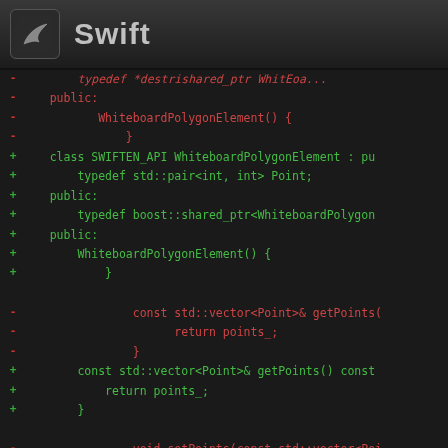Swift
[Figure (screenshot): Code diff view showing C++ class WhiteboardPolygonElement with removed (red) and added (green) lines, including typedef, public sections, constructor, getPoints and setPoints methods.]